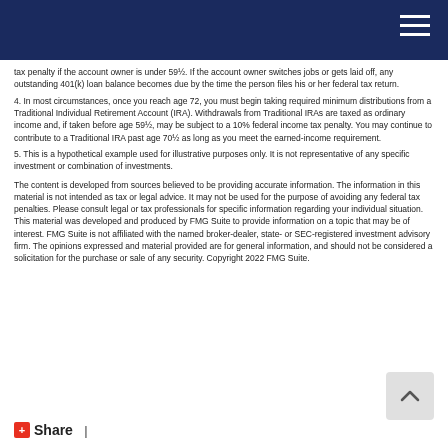tax penalty if the account owner is under 59½. If the account owner switches jobs or gets laid off, any outstanding 401(k) loan balance becomes due by the time the person files his or her federal tax return.
4. In most circumstances, once you reach age 72, you must begin taking required minimum distributions from a Traditional Individual Retirement Account (IRA). Withdrawals from Traditional IRAs are taxed as ordinary income and, if taken before age 59½, may be subject to a 10% federal income tax penalty. You may continue to contribute to a Traditional IRA past age 70½ as long as you meet the earned-income requirement.
5. This is a hypothetical example used for illustrative purposes only. It is not representative of any specific investment or combination of investments.
The content is developed from sources believed to be providing accurate information. The information in this material is not intended as tax or legal advice. It may not be used for the purpose of avoiding any federal tax penalties. Please consult legal or tax professionals for specific information regarding your individual situation. This material was developed and produced by FMG Suite to provide information on a topic that may be of interest. FMG Suite is not affiliated with the named broker-dealer, state- or SEC-registered investment advisory firm. The opinions expressed and material provided are for general information, and should not be considered a solicitation for the purchase or sale of any security. Copyright 2022 FMG Suite.
Share  |